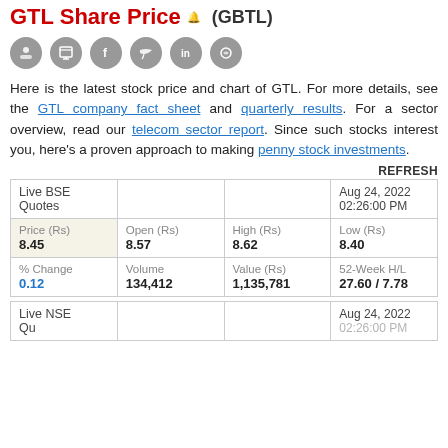GTL Share Price (GBTL)
[Figure (other): Social sharing icons: email, print, Facebook, Twitter, LinkedIn, WhatsApp]
Here is the latest stock price and chart of GTL. For more details, see the GTL company fact sheet and quarterly results. For a sector overview, read our telecom sector report. Since such stocks interest you, here's a proven approach to making penny stock investments.
REFRESH
| Live BSE Quotes |  |  | Aug 24, 2022 02:26:00 PM |
| --- | --- | --- | --- |
| Price (Rs)
8.45 | Open (Rs)
8.57 | High (Rs)
8.62 | Low (Rs)
8.40 |
| % Change
0.12 | Volume
134,412 | Value (Rs)
1,135,781 | 52-Week H/L
27.60 / 7.78 |
| Live NSE Quotes |  |  | Aug 24, 2022 |
| --- | --- | --- | --- |